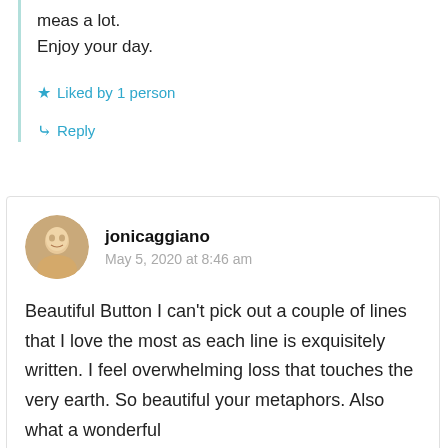meas a lot.
Enjoy your day.
★ Liked by 1 person
↳ Reply
jonicaggiano
May 5, 2020 at 8:46 am
Beautiful Button I can't pick out a couple of lines that I love the most as each line is exquisitely written. I feel overwhelming loss that touches the very earth. So beautiful your metaphors. Also what a wonderful